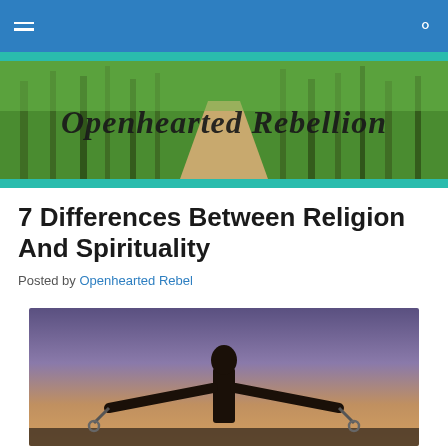Openhearted Rebellion — navigation bar with hamburger menu and search icon
[Figure (photo): Hero banner with forest path background and cursive text 'Openhearted Rebellion']
7 Differences Between Religion And Spirituality
Posted by Openhearted Rebel
[Figure (photo): Silhouette of a person with arms outstretched holding chains, against a sunset/dusk sky background]